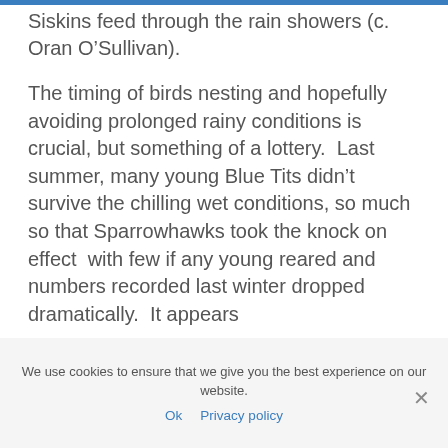Siskins feed through the rain showers (c. Oran O’Sullivan).
The timing of birds nesting and hopefully avoiding prolonged rainy conditions is crucial, but something of a lottery.  Last summer, many young Blue Tits didn’t survive the chilling wet conditions, so much so that Sparrowhawks took the knock on effect  with few if any young reared and numbers recorded last winter dropped dramatically.  It appears
We use cookies to ensure that we give you the best experience on our website.
Ok  Privacy policy